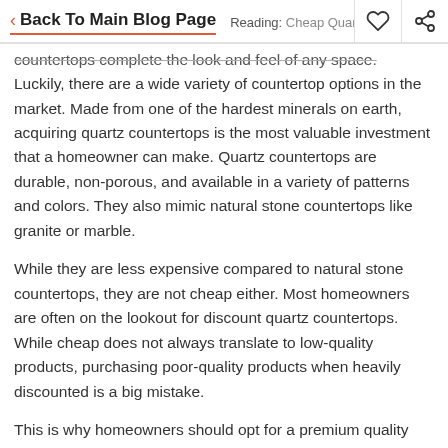< Back To Main Blog Page   Reading: Cheap Quart
countertops complete the look and feel of any space. Luckily, there are a wide variety of countertop options in the market. Made from one of the hardest minerals on earth, acquiring quartz countertops is the most valuable investment that a homeowner can make. Quartz countertops are durable, non-porous, and available in a variety of patterns and colors. They also mimic natural stone countertops like granite or marble.
While they are less expensive compared to natural stone countertops, they are not cheap either. Most homeowners are often on the lookout for discount quartz countertops. While cheap does not always translate to low-quality products, purchasing poor-quality products when heavily discounted is a big mistake.
This is why homeowners should opt for a premium quality